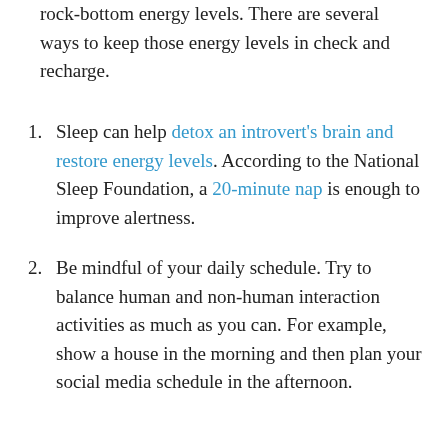rock-bottom energy levels. There are several ways to keep those energy levels in check and recharge.
Sleep can help detox an introvert's brain and restore energy levels. According to the National Sleep Foundation, a 20-minute nap is enough to improve alertness.
Be mindful of your daily schedule. Try to balance human and non-human interaction activities as much as you can. For example, show a house in the morning and then plan your social media schedule in the afternoon.